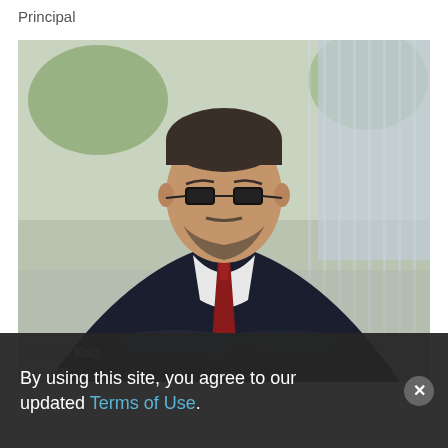Principal
[Figure (photo): Professional headshot of a man in a dark suit with a red tie and glasses, arms crossed, with an outdoor blurred background]
Stuart M. Katz
Principal
By using this site, you agree to our updated Terms of Use.